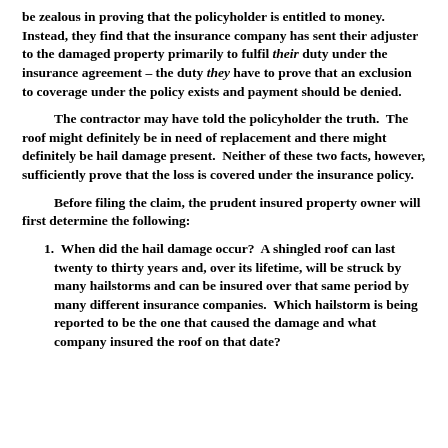be zealous in proving that the policyholder is entitled to money. Instead, they find that the insurance company has sent their adjuster to the damaged property primarily to fulfil their duty under the insurance agreement – the duty they have to prove that an exclusion to coverage under the policy exists and payment should be denied.
The contractor may have told the policyholder the truth. The roof might definitely be in need of replacement and there might definitely be hail damage present. Neither of these two facts, however, sufficiently prove that the loss is covered under the insurance policy.
Before filing the claim, the prudent insured property owner will first determine the following:
1. When did the hail damage occur? A shingled roof can last twenty to thirty years and, over its lifetime, will be struck by many hailstorms and can be insured over that same period by many different insurance companies. Which hailstorm is being reported to be the one that caused the damage and what company insured the roof on that date?